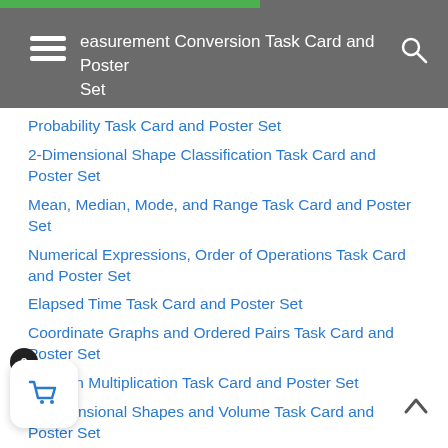Measurement Conversion Task Card and Poster Set
Probability Task Card and Poster Set
2-Dimensional Shape Classification Task Card and Poster Set
Mean, Median, Mode, and Range Task Card and Poster Set
Numerical Expressions, Order of Operations Task Card and Poster Set
Elapsed Time Task Card and Poster Set
Coordinate Graphs and Ordered Pairs Task Card and Poster Set
Fraction Multiplication Task Card and Poster Set
3-Dimensional Shapes and Volume Task Card and Poster Set
Decimal Comparison and Number Form Task